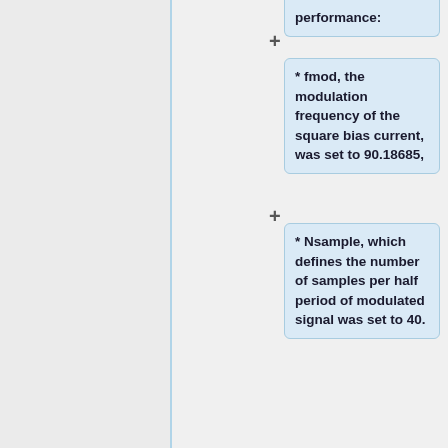* fmod, the modulation frequency of the square bias current, was set to 90.18685,
* Nsample, which defines the number of samples per half period of modulated signal was set to 40.
Each channel has its own settings for the following
Each channel has its own settings for the following